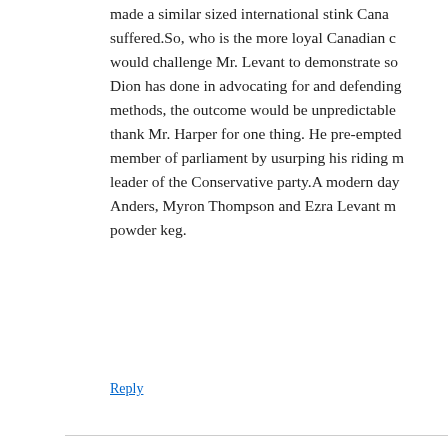made a similar sized international stink Cana suffered.So, who is the more loyal Canadian c would challenge Mr. Levant to demonstrate so Dion has done in advocating for and defending methods, the outcome would be unpredictable thank Mr. Harper for one thing. He pre-empted member of parliament by usurping his riding r leader of the Conservative party.A modern day Anders, Myron Thompson and Ezra Levant m powder keg.
Reply
Gib says:
September 1, 2010 at 9:27 am
So…now that your ID is public, will we finally be endi silliness?
Reply